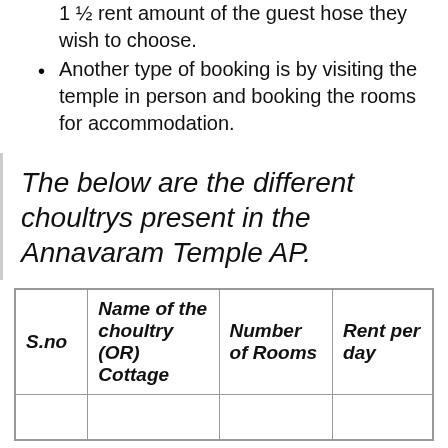1 ½ rent amount of the guest hose they wish to choose.
Another type of booking is by visiting the temple in person and booking the rooms for accommodation.
The below are the different choultrys present in the Annavaram Temple AP.
| S.no | Name of the choultry (OR) Cottage | Number of Rooms | Rent per day |
| --- | --- | --- | --- |